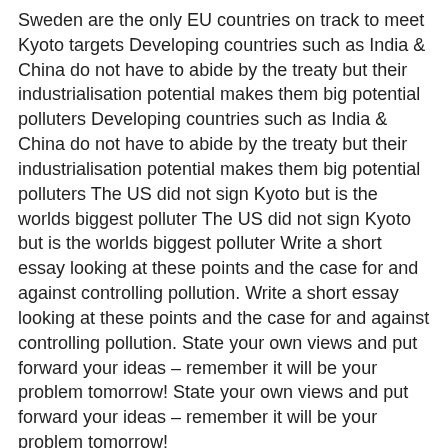Sweden are the only EU countries on track to meet Kyoto targets Developing countries such as India & China do not have to abide by the treaty but their industrialisation potential makes them big potential polluters Developing countries such as India & China do not have to abide by the treaty but their industrialisation potential makes them big potential polluters The US did not sign Kyoto but is the worlds biggest polluter The US did not sign Kyoto but is the worlds biggest polluter Write a short essay looking at these points and the case for and against controlling pollution. Write a short essay looking at these points and the case for and against controlling pollution. State your own views and put forward your ideas – remember it will be your problem tomorrow! State your own views and put forward your ideas – remember it will be your problem tomorrow!
6   Investigating People at Work 10 - External Influences 6
Business & Environment Businesses should have systems in place that Businesses should have systems in place that Audit all activities that affect the environment Audit all activities that affect the environment Create plans for environmental management Create plans for environmental management Set up environmental management systems